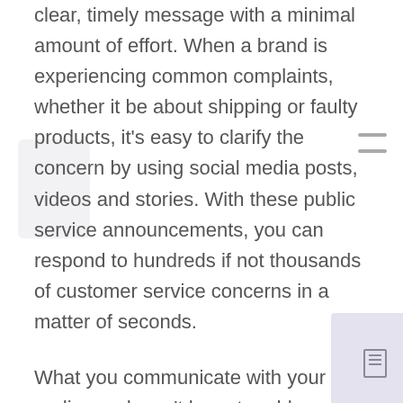clear, timely message with a minimal amount of effort. When a brand is experiencing common complaints, whether it be about shipping or faulty products, it's easy to clarify the concern by using social media posts, videos and stories. With these public service announcements, you can respond to hundreds if not thousands of customer service concerns in a matter of seconds.
What you communicate with your audience doesn't have to address a specific complaint, or an issue already raised. The value of this style of communication is that you can pre-emptively address commonly asked questions,